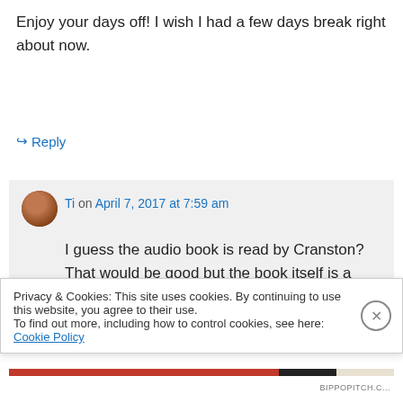Enjoy your days off! I wish I had a few days break right about now.
↳ Reply
Ti on April 7, 2017 at 7:59 am
I guess the audio book is read by Cranston? That would be good but the book itself is a collection of stories so I'm not sure how it would translate on audio. It
Privacy & Cookies: This site uses cookies. By continuing to use this website, you agree to their use.
To find out more, including how to control cookies, see here: Cookie Policy
Close and accept